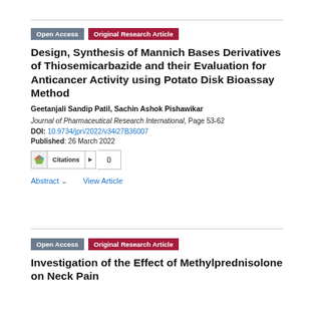Open Access | Original Research Article
Design, Synthesis of Mannich Bases Derivatives of Thiosemicarbazide and their Evaluation for Anticancer Activity using Potato Disk Bioassay Method
Geetanjali Sandip Patil, Sachin Ashok Pishawikar
Journal of Pharmaceutical Research International, Page 53-62
DOI: 10.9734/jpri/2022/v34i27B36007
Published: 26 March 2022
Citations 0
Abstract ▾   View Article
Open Access | Original Research Article
Investigation of the Effect of Methylprednisolone on Neck Pain